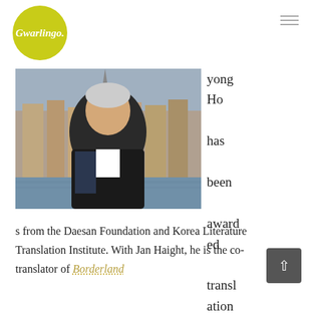Gwarlingo.
[Figure (photo): Portrait photo of a middle-aged Asian man with grey hair, wearing a black jacket over a blue plaid shirt and white t-shirt, standing outdoors in front of a European waterfront town with colourful buildings and sailboats.]
yong Ho has been awarded translation grants from the Daesan Foundation and Korea Literature Translation Institute. With Jan Haight, he is the co-translator of Borderland
Borderland